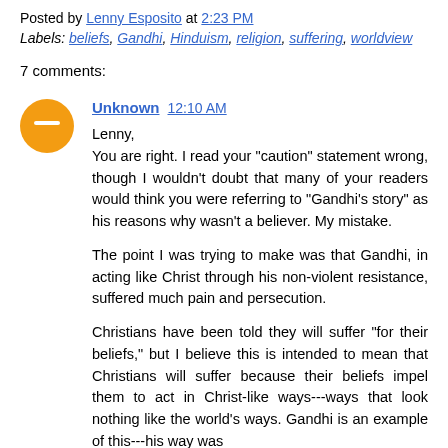Posted by Lenny Esposito at 2:23 PM
Labels: beliefs, Gandhi, Hinduism, religion, suffering, worldview
7 comments:
Unknown 12:10 AM
Lenny,
You are right. I read your "caution" statement wrong, though I wouldn't doubt that many of your readers would think you were referring to "Gandhi's story" as his reasons why wasn't a believer. My mistake.

The point I was trying to make was that Gandhi, in acting like Christ through his non-violent resistance, suffered much pain and persecution.

Christians have been told they will suffer "for their beliefs," but I believe this is intended to mean that Christians will suffer because their beliefs impel them to act in Christ-like ways---ways that look nothing like the world's ways. Gandhi is an example of this---his way was